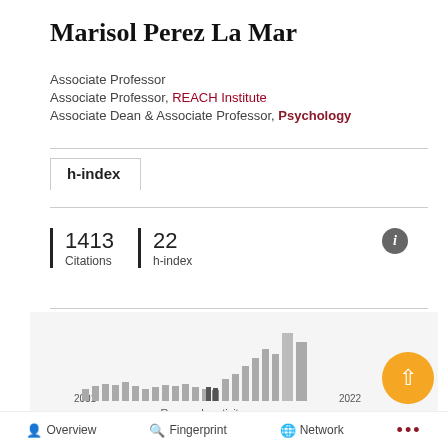Marisol Perez La Mar
Associate Professor
Associate Professor, REACH Institute
Associate Dean & Associate Professor, Psychology
h-index
1413 Citations   22 h-index
[Figure (bar-chart): Research activity per year]
Research activity per year
Overview   Fingerprint   Network   ...